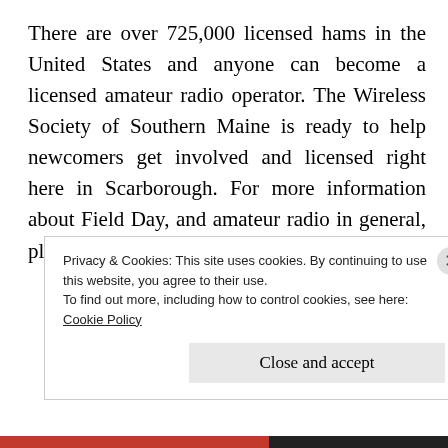There are over 725,000 licensed hams in the United States and anyone can become a licensed amateur radio operator. The Wireless Society of Southern Maine is ready to help newcomers get involved and licensed right here in Scarborough. For more information about Field Day, and amateur radio in general, please visit:
Privacy & Cookies: This site uses cookies. By continuing to use this website, you agree to their use.
To find out more, including how to control cookies, see here:
Cookie Policy

Close and accept